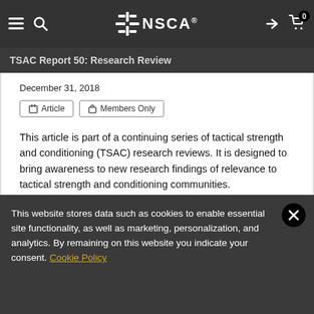TSAC Report 50: Research Review
December 31, 2018
Article | Members Only
This article is part of a continuing series of tactical strength and conditioning (TSAC) research reviews. It is designed to bring awareness to new research findings of relevance to tactical strength and conditioning communities.
TSAC Facilitators
Exercise Science
This website stores data such as cookies to enable essential site functionality, as well as marketing, personalization, and analytics. By remaining on this website you indicate your consent. Cookie Policy